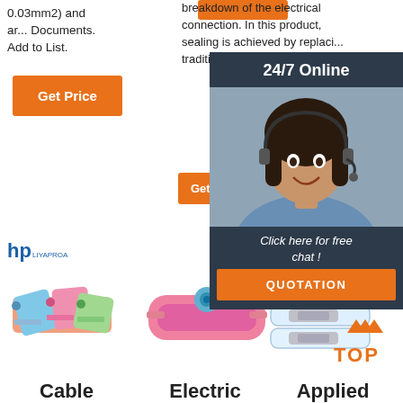0.03mm2) and ar... Documents. Add to List.
[Figure (other): Orange button (partial, top area)]
Get Price
breakdown of the electrical connection. In this product, sealing is achieved by replacing traditional methods gromm...
[Figure (infographic): 24/7 Online chat overlay with customer service representative photo, 'Click here for free chat!' text, and QUOTATION button]
[Figure (logo): HP brand logo]
[Figure (photo): Cable connector product image - colorful wire connectors]
[Figure (photo): Electric connector product image - pink connector]
[Figure (photo): Applied connector product image - transparent connectors]
Cable
Electric
Applied